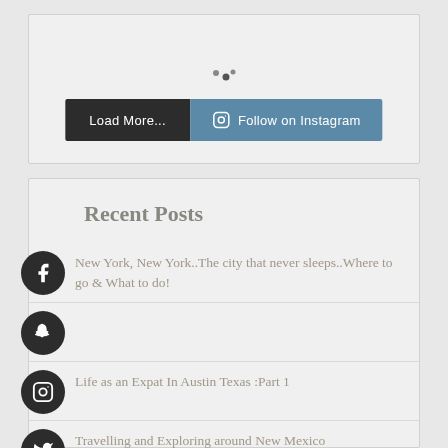[Figure (screenshot): Loading spinner dots in a light gray widget box]
Load More...
Follow on Instagram
Recent Posts
New York, New York..The city that never sleeps..Where to go & What to do!
Life as an Expat In Austin Texas :Part 1
Travelling and Exploring around New Mexico
Top 10 Things to do in Austin City over the Holiday Period...